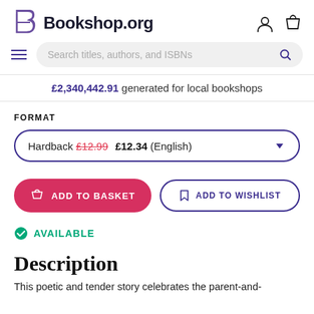Bookshop.org
Search titles, authors, and ISBNs
£2,340,442.91 generated for local bookshops
FORMAT
Hardback £12.99 £12.34 (English)
ADD TO BASKET
ADD TO WISHLIST
AVAILABLE
Description
This poetic and tender story celebrates the parent-and-